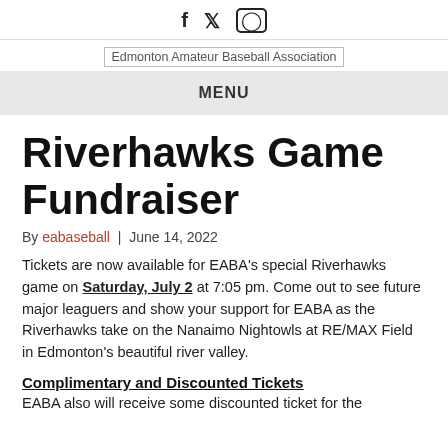f  Twitter  Instagram — social icons
[Figure (logo): Edmonton Amateur Baseball Association logo]
MENU
Riverhawks Game Fundraiser
By eabaseball  |  June 14, 2022
Tickets are now available for EABA's special Riverhawks game on Saturday, July 2 at 7:05 pm. Come out to see future major leaguers and show your support for EABA as the Riverhawks take on the Nanaimo Nightowls at RE/MAX Field in Edmonton's beautiful river valley.
Complimentary and Discounted Tickets
EABA also will receive some discounted tickets for the